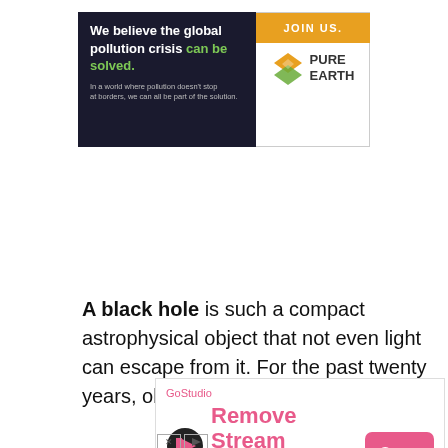[Figure (illustration): Pure Earth advertisement banner: dark left panel with text 'We believe the global pollution crisis can be solved.' with 'can be solved.' in green, smaller subtext about pollution not stopping at borders. Right panel white with orange 'JOIN US.' bar at top, Pure Earth diamond logo and name.]
A black hole is such a compact astrophysical object that not even light can escape from it. For the past twenty years, observations have
[Figure (illustration): GoStudio advertisement: pink brand name 'GoStudio', GoStudio logo icon, large pink text 'Remove Stream background App', pink 'Open' button on the right. Small 'GoStudio' label beneath icon.]